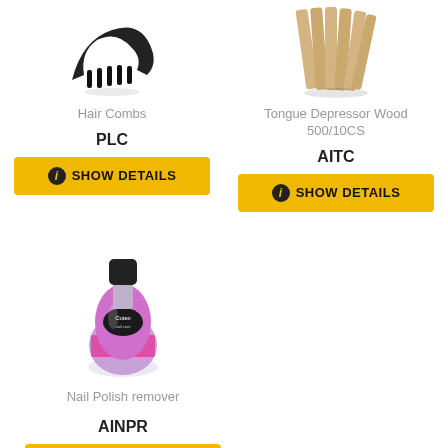[Figure (photo): Black hair comb product image]
Hair Combs
PLC
SHOW DETAILS
[Figure (photo): Tongue depressor wood sticks bundle product image]
Tongue Depressor Wood 500/10CS
AITC
SHOW DETAILS
[Figure (photo): Cutex nail polish remover bottle product image]
Nail Polish remover
AINPR
SHOW DETAILS